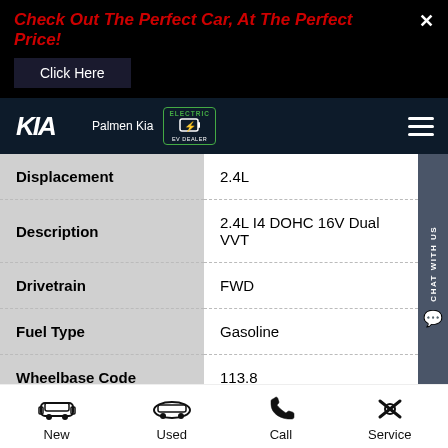Check Out The Perfect Car, At The Perfect Price!
Click Here
[Figure (logo): Kia logo with Palmen Kia text and EV dealer badge, plus hamburger menu]
| Attribute | Value |
| --- | --- |
| Displacement | 2.4L |
| Description | 2.4L I4 DOHC 16V Dual VVT |
| Drivetrain | FWD |
| Fuel Type | Gasoline |
| Wheelbase Code | 113.8 |
[Figure (infographic): Bottom navigation bar with New, Used, Call, Service icons]